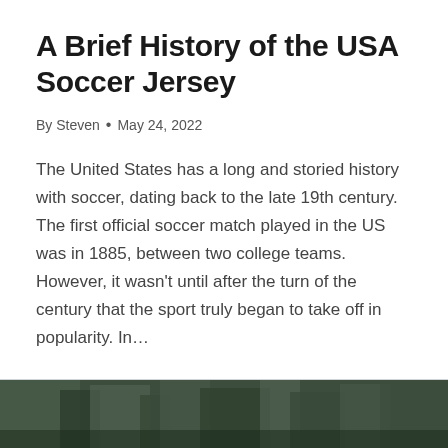A Brief History of the USA Soccer Jersey
By Steven • May 24, 2022
The United States has a long and storied history with soccer, dating back to the late 19th century. The first official soccer match played in the US was in 1885, between two college teams. However, it wasn't until after the turn of the century that the sport truly began to take off in popularity. In…
READ MORE →
[Figure (photo): Dark photo strip at the bottom of the page, showing an outdoor scene with greenery]